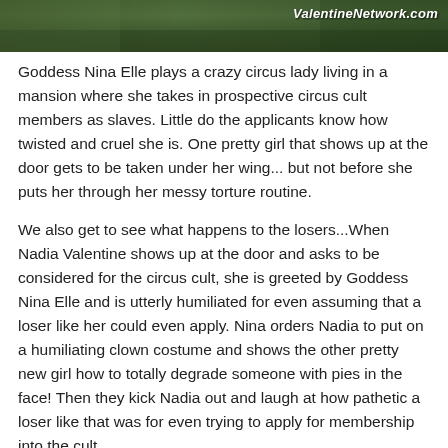[Figure (photo): Outdoor photo showing green trees and a building/mansion exterior, with watermark 'ValentineNetwork.com' in white bold italic text in the upper right corner]
Goddess Nina Elle plays a crazy circus lady living in a mansion where she takes in prospective circus cult members as slaves. Little do the applicants know how twisted and cruel she is. One pretty girl that shows up at the door gets to be taken under her wing... but not before she puts her through her messy torture routine.
We also get to see what happens to the losers...When Nadia Valentine shows up at the door and asks to be considered for the circus cult, she is greeted by Goddess Nina Elle and is utterly humiliated for even assuming that a loser like her could even apply. Nina orders Nadia to put on a humiliating clown costume and shows the other pretty new girl how to totally degrade someone with pies in the face! Then they kick Nadia out and laugh at how pathetic a loser like that was for even trying to apply for membership into the cult.
After Nina and the new girl bully and humiliate the loser Nadia with pies, they go back inside where Nina begins her initiation of